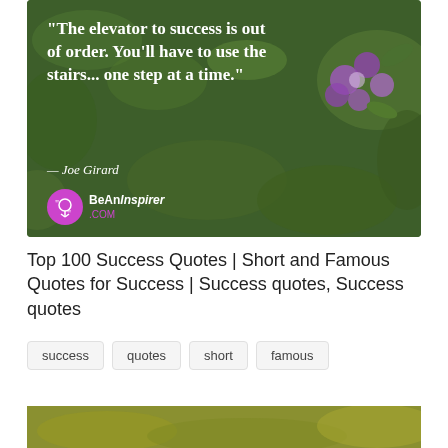[Figure (photo): Inspirational quote image over blurred green foliage background with purple flower. White bold serif text reads: "The elevator to success is out of order. You'll have to use the stairs... one step at a time." — Joe Girard. BeAnInspirer.com logo at bottom left.]
Top 100 Success Quotes | Short and Famous Quotes for Success | Success quotes, Success quotes
success
quotes
short
famous
[Figure (photo): Partially visible second image at the bottom of the page showing blurred outdoor/nature background in yellow-green tones.]